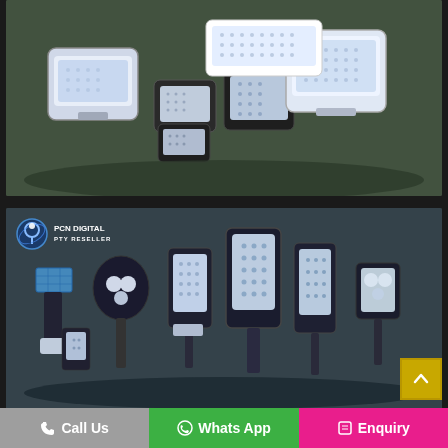[Figure (photo): Product photo showing multiple LED flood lights of various sizes arranged on a dark surface]
[Figure (photo): Product photo showing multiple solar LED street lights of various sizes with company logo 'PCN DIGITAL' in top left corner]
Call Us
Whats App
Enquiry